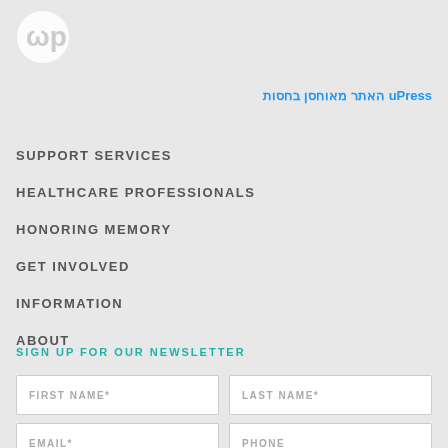[Figure (logo): uPress circular logo in white on light gray background]
uPress בחסות מאוחסן האתר
SUPPORT SERVICES
HEALTHCARE PROFESSIONALS
HONORING MEMORY
GET INVOLVED
INFORMATION
ABOUT
SIGN UP FOR OUR NEWSLETTER
FIRST NAME* | LAST NAME* | EMAIL* | PHONE